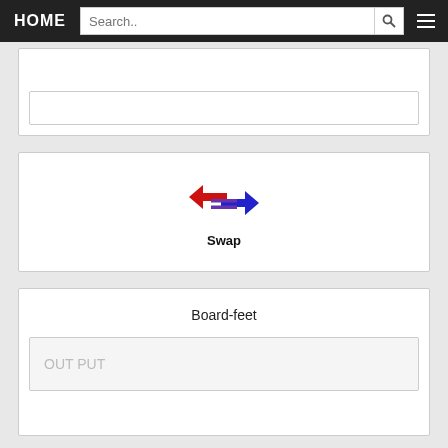HOME  Search..  [search icon] [menu icon]
[Figure (screenshot): Partial view of a card with an inner input box at the bottom]
[Figure (screenshot): Swap icon card: two opposing horizontal arrows in red and blue with two horizontal lines in the center, labeled 'Swap']
Board-feet
[Figure (screenshot): Board-feet output card with a greyed-out text field showing placeholder text 'OUT PUT']